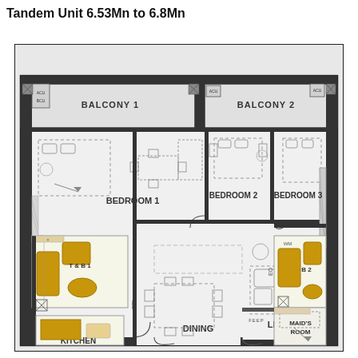Tandem Unit 6.53Mn to 6.8Mn
[Figure (engineering-diagram): Floor plan of a tandem residential unit showing Balcony 1, Balcony 2, Bedroom 1, Bedroom 2, Bedroom 3, Kitchen, Dining, Living, T&B 1, T&B 2, and Maid's Room. The layout includes furniture, AC units (ACU/BCU), and structural walls.]